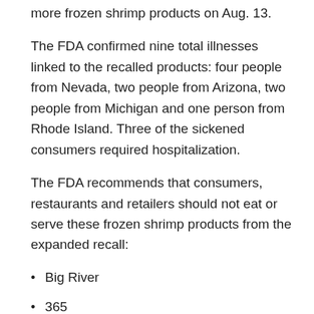more frozen shrimp products on Aug. 13.
The FDA confirmed nine total illnesses linked to the recalled products: four people from Nevada, two people from Arizona, two people from Michigan and one person from Rhode Island. Three of the sickened consumers required hospitalization.
The FDA recommends that consumers, restaurants and retailers should not eat or serve these frozen shrimp products from the expanded recall:
Big River
365
Ahold
Censea